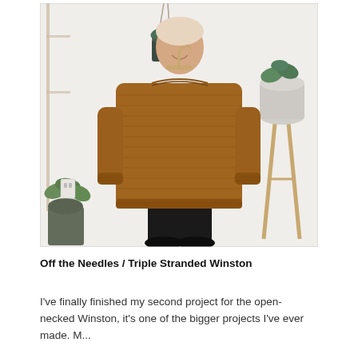[Figure (photo): A person holding up a handknit rust/caramel-colored sweater on a wooden hanger against a white wall background with hanging plants and a wooden side table with a potted plant.]
Off the Needles / Triple Stranded Winston
I've finally finished my second project for the open-necked Winston, it's one of the bigger projects I've ever made. M...